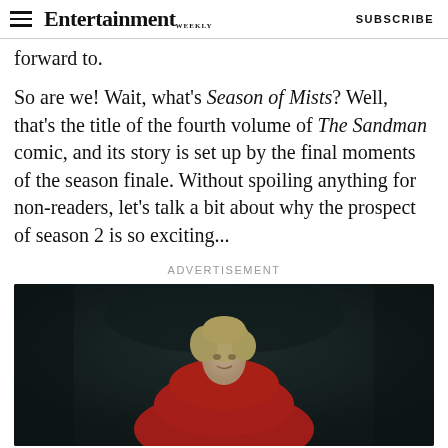Entertainment Weekly  SUBSCRIBE
forward to.
So are we! Wait, what's Season of Mists? Well, that's the title of the fourth volume of The Sandman comic, and its story is set up by the final moments of the season finale. Without spoiling anything for non-readers, let's talk a bit about why the prospect of season 2 is so exciting...
ADVERTISEMENT
[Figure (photo): A person with short blonde hair wearing a red outfit, photographed in a dark setting, leaning or emerging from a dark background.]